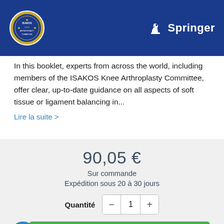[Figure (logo): Top banner with blue background showing ISAKOS seal on left and Springer logo on right]
In this booklet, experts from across the world, including members of the ISAKOS Knee Arthroplasty Committee, offer clear, up-to-date guidance on all aspects of soft tissue or ligament balancing in...
Lire la suite >
90,05 €
Sur commande
Expédition sous 20 à 30 jours
Quantité  -  1  +
COMMANDER